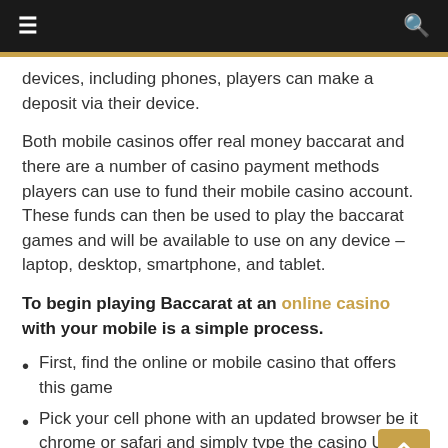≡  🔍
devices, including phones, players can make a deposit via their device.
Both mobile casinos offer real money baccarat and there are a number of casino payment methods players can use to fund their mobile casino account. These funds can then be used to play the baccarat games and will be available to use on any device – laptop, desktop, smartphone, and tablet.
To begin playing Baccarat at an online casino with your mobile is a simple process.
First, find the online or mobile casino that offers this game
Pick your cell phone with an updated browser be it chrome or safari and simply type the casino URL on the web browser
Click submit or Go button or Enter